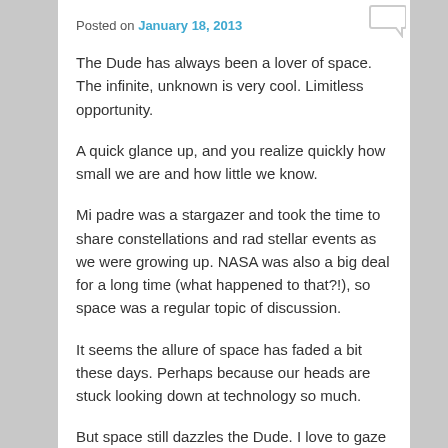Posted on January 18, 2013
The Dude has always been a lover of space. The infinite, unknown is very cool. Limitless opportunity.
A quick glance up, and you realize quickly how small we are and how little we know.
Mi padre was a stargazer and took the time to share constellations and rad stellar events as we were growing up. NASA was also a big deal for a long time (what happened to that?!), so space was a regular topic of discussion.
It seems the allure of space has faded a bit these days. Perhaps because our heads are stuck looking down at technology so much.
But space still dazzles the Dude. I love to gaze up at the stars and point out constellations to the kiddos. It doesn't get much better than a fire-pit  a few brews, and some